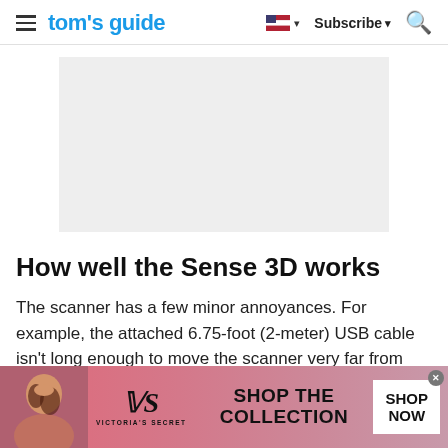tom's guide | Subscribe
[Figure (other): Gray rectangular advertisement placeholder]
How well the Sense 3D works
The scanner has a few minor annoyances. For example, the attached 6.75-foot (2-meter) USB cable isn't long enough to move the scanner very far from
[Figure (other): Victoria's Secret advertisement banner with woman, VS logo, SHOP THE COLLECTION text, and SHOP NOW button]